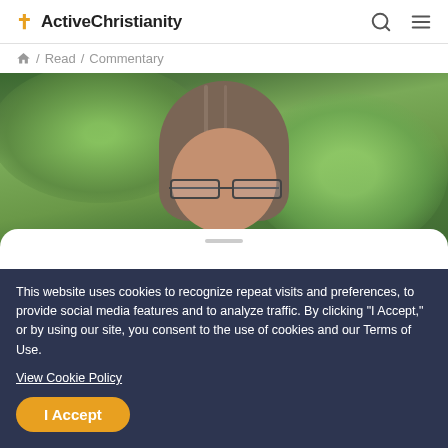ActiveChristianity
/ Read / Commentary
[Figure (photo): Portrait photo of an older person with long gray hair and glasses, outdoors with green foliage background. A white rounded card overlays the lower portion.]
The best thing my mom ever
This website uses cookies to recognize repeat visits and preferences, to provide social media features and to analyze traffic. By clicking “I Accept,” or by using our site, you consent to the use of cookies and our Terms of Use.
View Cookie Policy
I Accept